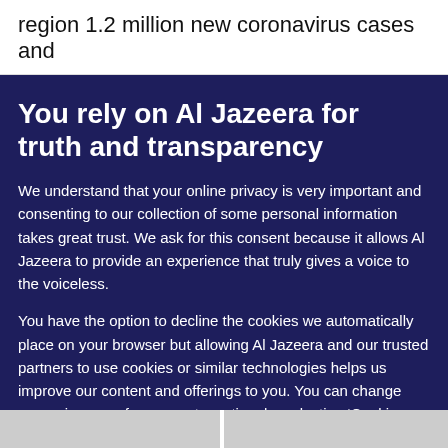region 1.2 million new coronavirus cases and
You rely on Al Jazeera for truth and transparency
We understand that your online privacy is very important and consenting to our collection of some personal information takes great trust. We ask for this consent because it allows Al Jazeera to provide an experience that truly gives a voice to the voiceless.
You have the option to decline the cookies we automatically place on your browser but allowing Al Jazeera and our trusted partners to use cookies or similar technologies helps us improve our content and offerings to you. You can change your privacy preferences at any time by selecting ‘Cookie preferences’ at the bottom of your screen. To learn more, please view our Cookie Policy.